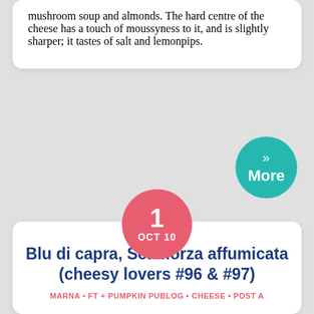mushroom soup and almonds. The hard centre of the cheese has a touch of moussyness to it, and is slightly sharper; it tastes of salt and lemonpips.
[Figure (other): Teal circular 'More' button with chevron >> and text 'More']
[Figure (other): Pink/salmon circular date badge showing '1 OCT 10']
Blu di capra, Scamorza affumicata (cheesy lovers #96 & #97)
MARNA • FT + PUMPKIN PUBLOG • CHEESE • POST A